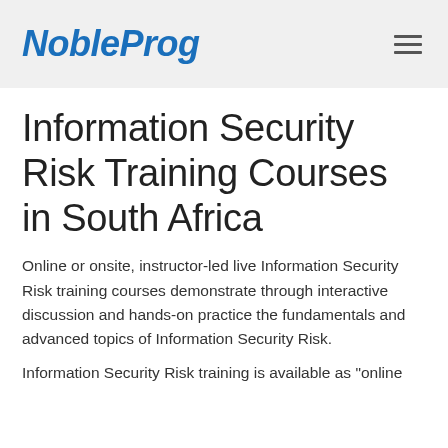NobleProg
Information Security Risk Training Courses in South Africa
Online or onsite, instructor-led live Information Security Risk training courses demonstrate through interactive discussion and hands-on practice the fundamentals and advanced topics of Information Security Risk.
Information Security Risk training is available as "online